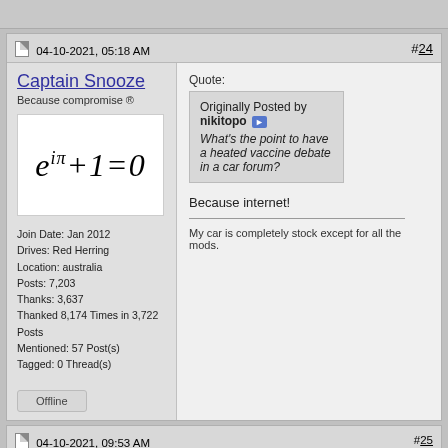04-10-2021, 05:18 AM  #24
Captain Snooze
Because compromise ®
[Figure (math-figure): Euler's identity formula: e^(iπ)+1=0 rendered in italic serif font on white background]
Join Date: Jan 2012
Drives: Red Herring
Location: australia
Posts: 7,203
Thanks: 3,637
Thanked 8,174 Times in 3,722 Posts
Mentioned: 57 Post(s)
Tagged: 0 Thread(s)
Offline
Quote:
Originally Posted by nikitopo ▶ What's the point to have a heated vaccine debate in a car forum?
Because internet!
My car is completely stock except for all the mods.
04-10-2021, 09:53 AM  #25